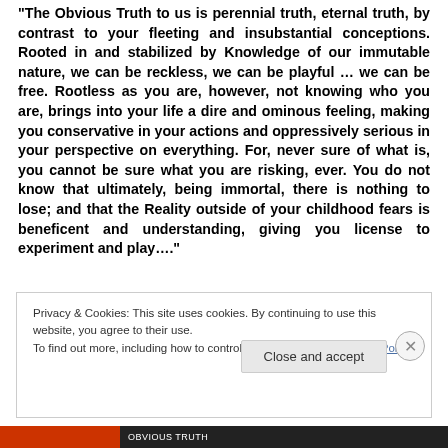"The Obvious Truth to us is perennial truth, eternal truth, by contrast to your fleeting and insubstantial conceptions. Rooted in and stabilized by Knowledge of our immutable nature, we can be reckless, we can be playful … we can be free. Rootless as you are, however, not knowing who you are, brings into your life a dire and ominous feeling, making you conservative in your actions and oppressively serious in your perspective on everything. For, never sure of what is, you cannot be sure what you are risking, ever. You do not know that ultimately, being immortal, there is nothing to lose; and that the Reality outside of your childhood fears is beneficent and understanding, giving you license to experiment and play…."
Privacy & Cookies: This site uses cookies. By continuing to use this website, you agree to their use.
To find out more, including how to control cookies, see here: Cookie Policy